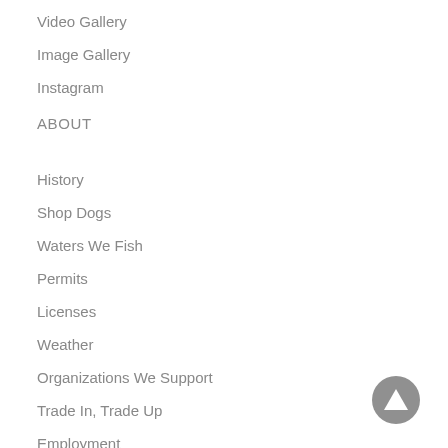Video Gallery
Image Gallery
Instagram
ABOUT
History
Shop Dogs
Waters We Fish
Permits
Licenses
Weather
Organizations We Support
Trade In, Trade Up
Employment
PARTNER WITH US
Affiliate Application
[Figure (other): Scroll-to-top button: dark gray circle with white upward-pointing triangle arrow]